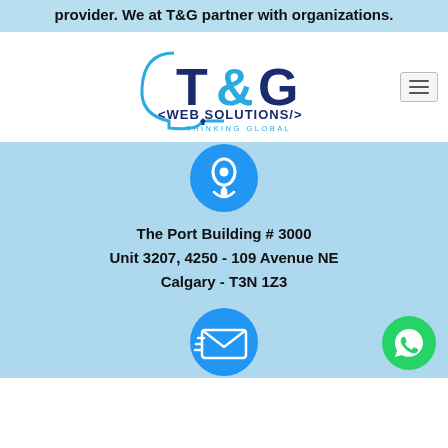provider. We at T&G partner with organizations.
[Figure (logo): T&G Web Solutions logo with the text 'T&G WEB SOLUTIONS THINKING GLOBAL' with a stylized head silhouette]
[Figure (illustration): Blue circular location pin icon on light blue background]
The Port Building # 3000
Unit 3207, 4250 - 109 Avenue NE
Calgary - T3N 1Z3
[Figure (illustration): Blue circular email/envelope icon on light blue background]
[Figure (illustration): Green WhatsApp circular button with phone handset icon]